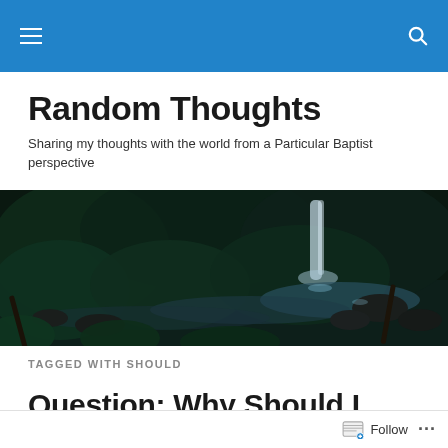Random Thoughts navigation bar
Random Thoughts
Sharing my thoughts with the world from a Particular Baptist perspective
[Figure (photo): Dark forest scene with a waterfall and stream flowing over rocks, surrounded by lush green ferns and trees in dim lighting]
TAGGED WITH SHOULD
Question: Why Should I Resist Sin, If God Uses It for…
Follow